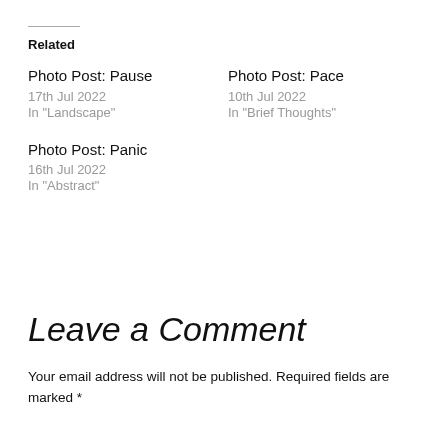Related
Photo Post: Pause
17th Jul 2022
In "Landscape"
Photo Post: Pace
10th Jul 2022
In "Brief Thoughts"
Photo Post: Panic
16th Jul 2022
In "Abstract"
Leave a Comment
Your email address will not be published. Required fields are marked *